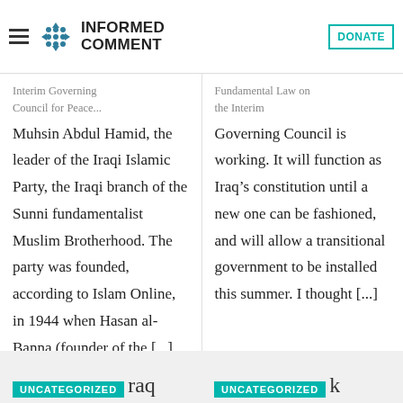INFORMED COMMENT | DONATE
Interim Governing Council for Peace... Muhsin Abdul Hamid, the leader of the Iraqi Islamic Party, the Iraqi branch of the Sunni fundamentalist Muslim Brotherhood. The party was founded, according to Islam Online, in 1944 when Hasan al-Banna (founder of the [...]
Fundamental Law on the Interim Governing Council is working. It will function as Iraq’s constitution until a new one can be fashioned, and will allow a transitional government to be installed this summer. I thought [...]
UNCATEGORIZED Iraq
UNCATEGORIZED k